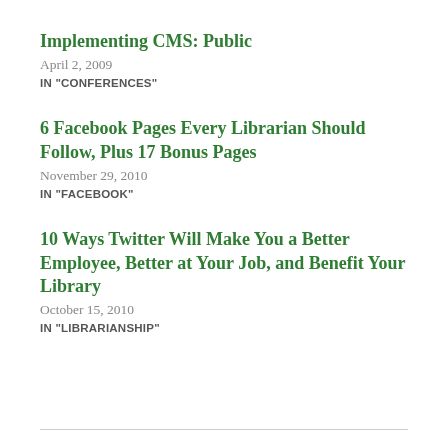Implementing CMS: Public
April 2, 2009
IN "CONFERENCES"
6 Facebook Pages Every Librarian Should Follow, Plus 17 Bonus Pages
November 29, 2010
IN "FACEBOOK"
10 Ways Twitter Will Make You a Better Employee, Better at Your Job, and Benefit Your Library
October 15, 2010
IN "LIBRARIANSHIP"